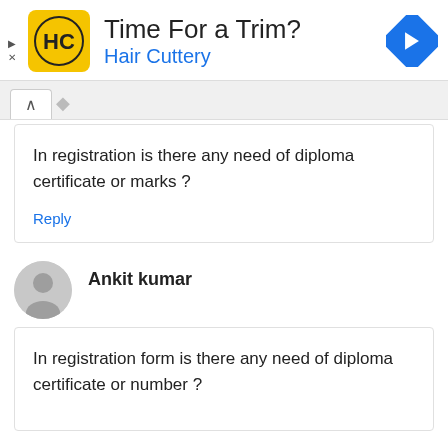[Figure (other): Hair Cuttery advertisement banner with logo (HC in yellow square), text 'Time For a Trim?' and 'Hair Cuttery', and a blue navigation diamond icon]
In registration is there any need of diploma certificate or marks ?
Reply
Ankit kumar
In registration form is there any need of diploma certificate or number ?